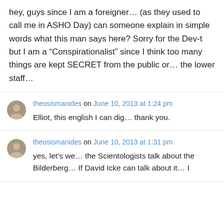hey, guys since I am a foreigner... (as they used to call me in ASHO Day) can someone explain in simple words what this man says here? Sorry for the Dev-t but I am a “Conspirationalist” since I think too many things are kept SECRET from the public or… the lower staff…
theosismanides on June 10, 2013 at 1:24 pm
Elliot, this english I can dig… thank you.
theosismanides on June 10, 2013 at 1:31 pm
yes, let’s we… the Scientologists talk about the Bilderberg… If David Icke can talk about it… I